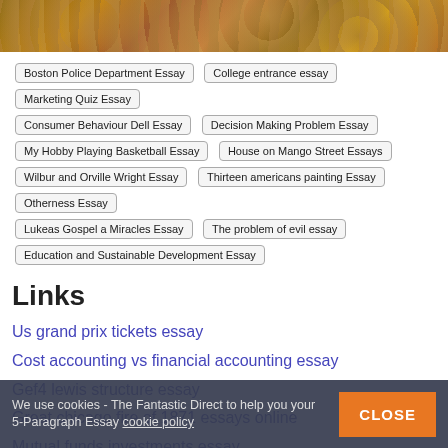[Figure (photo): Closeup photo of various coins scattered together]
Boston Police Department Essay
College entrance essay
Marketing Quiz Essay
Consumer Behaviour Dell Essay
Decision Making Problem Essay
My Hobby Playing Basketball Essay
House on Mango Street Essays
Wilbur and Orville Wright Essay
Thirteen americans painting Essay
Otherness Essay
Lukeas Gospel a Miracles Essay
The problem of evil essay
Education and Sustainable Development Essay
Links
Us grand prix tickets essay
Cost accounting vs financial accounting essay
Gef4 lewis structure essay
Great chicago fire of 1871 essays online
Mutual funds investments essay
We use cookies - The Fantastic Direct to help you your 5-Paragraph Essay cookie policy
CLOSE